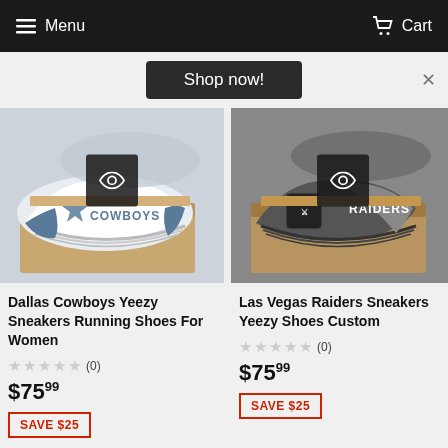Menu  Cart
Shop now!
[Figure (photo): Dallas Cowboys Yeezy sneaker (white and blue) on a cardboard box, with a quick-view eye icon overlay]
Dallas Cowboys Yeezy Sneakers Running Shoes For Women
(0)
$75.99
SAVE $25
[Figure (photo): Las Vegas Raiders Yeezy sneaker (dark gray/black) on a cardboard box, with a quick-view eye icon overlay]
Las Vegas Raiders Sneakers Yeezy Shoes Custom
(0)
$75.99
SAVE $25